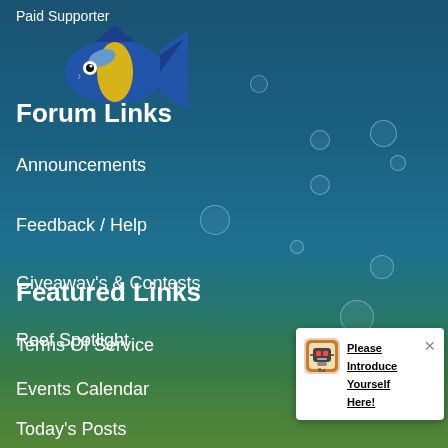Paid Supporter
[Figure (illustration): Cartoon blue and yellow tang fish illustration]
Forum Links
Announcements
Feedback / Help
Giveaway's & Contests
Reef Spotlight
Featured Links
Terms Of Service
Events Calendar
Today's Posts
[Figure (screenshot): Popup notification with icon: Please Introduce Yourself Here!]